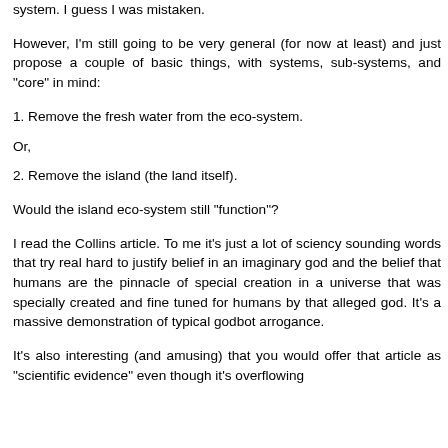system. I guess I was mistaken.
However, I'm still going to be very general (for now at least) and just propose a couple of basic things, with systems, sub-systems, and "core" in mind:
1. Remove the fresh water from the eco-system.
Or,
2. Remove the island (the land itself).
Would the island eco-system still "function"?
I read the Collins article. To me it's just a lot of sciency sounding words that try real hard to justify belief in an imaginary god and the belief that humans are the pinnacle of special creation in a universe that was specially created and fine tuned for humans by that alleged god. It's a massive demonstration of typical godbot arrogance.
It's also interesting (and amusing) that you would offer that article as "scientific evidence" even though it's overflowing